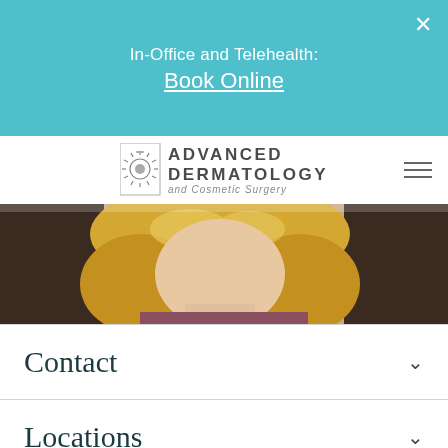In-Office and Telehealth:
Book Online
[Figure (logo): Advanced Dermatology and Cosmetic Surgery logo with sunburst icon]
[Figure (photo): Close-up photo of a blonde woman's face and hair, partially visible]
Contact
Locations